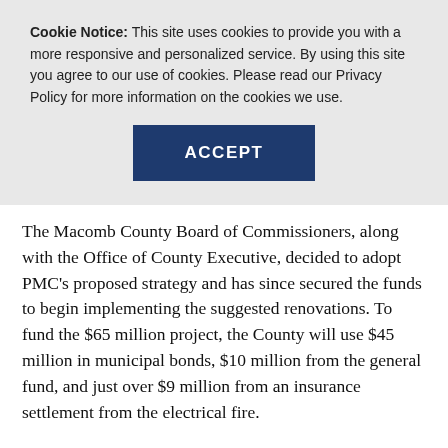Cookie Notice: This site uses cookies to provide you with a more responsive and personalized service. By using this site you agree to our use of cookies. Please read our Privacy Policy for more information on the cookies we use.
ACCEPT
The Macomb County Board of Commissioners, along with the Office of County Executive, decided to adopt PMC's proposed strategy and has since secured the funds to begin implementing the suggested renovations. To fund the $65 million project, the County will use $45 million in municipal bonds, $10 million from the general fund, and just over $9 million from an insurance settlement from the electrical fire.
“We have been extremely impressed with Plante Moran Cresa’s leadership throughout this project,” said Deldin.